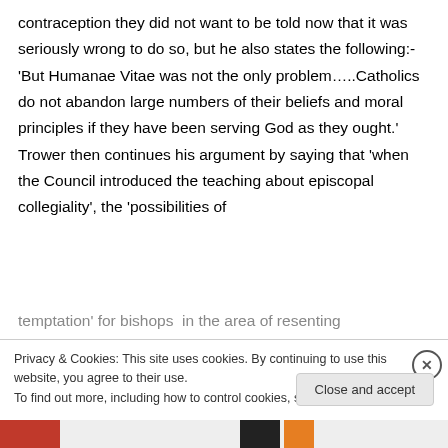contraception they did not want to be told now that it was seriously wrong to do so, but he also states the following:- 'But Humanae Vitae was not the only problem…..Catholics do not abandon large numbers of their beliefs and moral principles if they have been serving God as they ought.' Trower then continues his argument by saying that 'when the Council introduced the teaching about episcopal collegiality', the 'possibilities of temptation' for bishops  in the area of resenting
Privacy & Cookies: This site uses cookies. By continuing to use this website, you agree to their use.
To find out more, including how to control cookies, see here: Cookie Policy